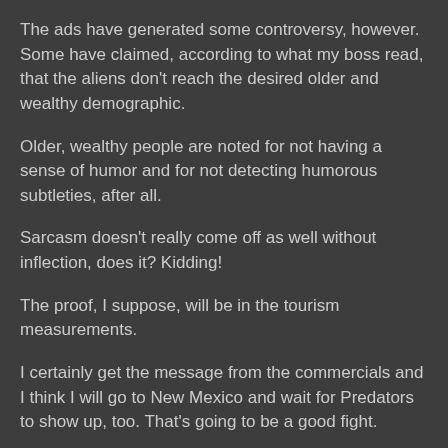The ads have generated some controversy, however. Some have claimed, according to what my boss read, that the aliens don't reach the desired older and wealthy demographic.
Older, wealthy people are noted for not having a sense of humor and for not detecting humorous subtleties, after all.
Sarcasm doesn't really come off as well without inflection, does it? Kidding!
The proof, I suppose, will be in the tourism measurements.
I certainly get the message from the commercials and I think I will go to New Mexico and wait for Predators to show up, too. That's going to be a good fight.
Sidney at 7:07 AM   6 comments: